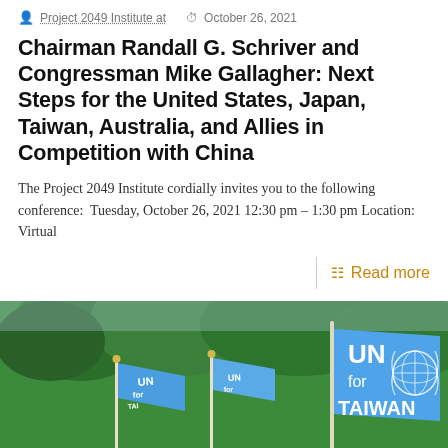Project 2049 Institute at  October 26, 2021
Chairman Randall G. Schriver and Congressman Mike Gallagher: Next Steps for the United States, Japan, Taiwan, Australia, and Allies in Competition with China
The Project 2049 Institute cordially invites you to the following conference:  Tuesday, October 26, 2021 12:30 pm – 1:30 pm Location: Virtual
Read more
[Figure (photo): People holding blue UN for Taiwan flags with the UN emblem, outdoors with trees in background]